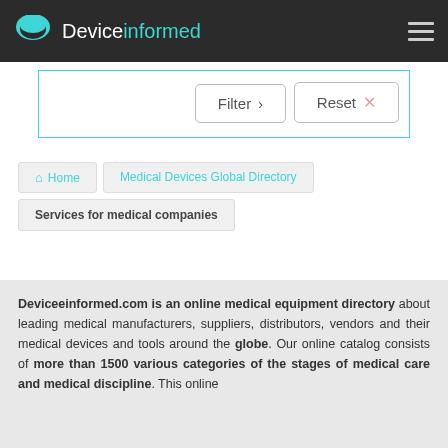Deviceinformed
[Figure (screenshot): Filter and Reset buttons inside a teal-bordered box]
Home | Medical Devices Global Directory | Services for medical companies
Deviceeinformed.com is an online medical equipment directory about leading medical manufacturers, suppliers, distributors, vendors and their medical devices and tools around the globe. Our online catalog consists of more than 1500 various categories of the stages of medical care and medical discipline. This online